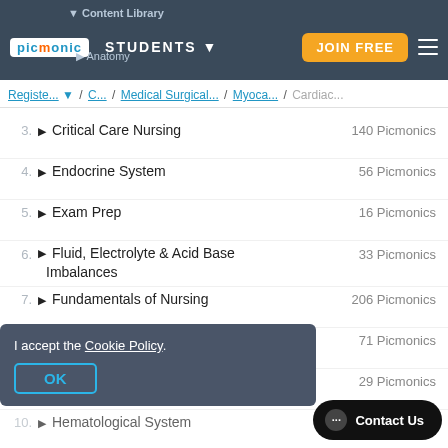Content Library | Picmonic | STUDENTS | JOIN FREE
Registe... / C... / Medical Surgical... / Myoca... / Cardiac...
3. Critical Care Nursing — 140 Picmonics
4. Endocrine System — 56 Picmonics
5. Exam Prep — 16 Picmonics
6. Fluid, Electrolyte & Acid Base Imbalances — 33 Picmonics
7. Fundamentals of Nursing — 206 Picmonics
8. Gastrointestinal System — 71 Picmonics
9. Genitourinary / Renal System — 29 Picmonics
10. Hematological System — 68 Picmonics
I accept the Cookie Policy. OK
Contact Us